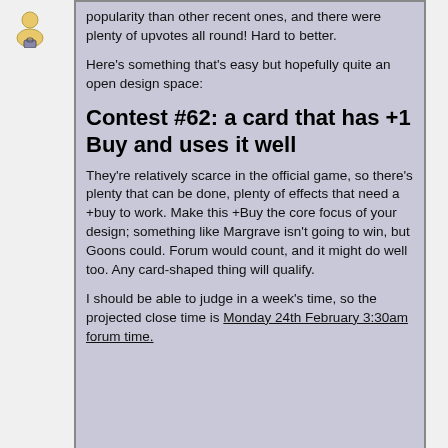[Figure (illustration): Small user avatar icon showing a person with a badge]
popularity than other recent ones, and there were plenty of upvotes all round! Hard to better.

Here's something that's easy but hopefully quite an open design space:
Contest #62: a card that has +1 Buy and uses it well
They're relatively scarce in the official game, so there's plenty that can be done, plenty of effects that need a +buy to work. Make this +Buy the core focus of your design; something like Margrave isn't going to win, but Goons could. Forum would count, and it might do well too. Any card-shaped thing will qualify.

I should be able to judge in a week's time, so the projected close time is Monday 24th February 3:30am forum time.
Contraband and Merchant Guild would be more examples, yes? Anyway,